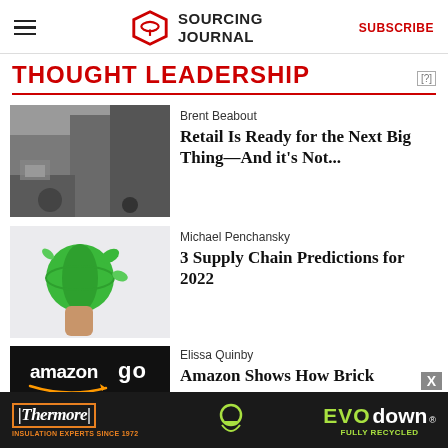Sourcing Journal — SUBSCRIBE
THOUGHT LEADERSHIP
Brent Beabout — Retail Is Ready for the Next Big Thing—And it's Not...
Michael Penchansky — 3 Supply Chain Predictions for 2022
Elissa Quinby — Amazon Shows How Brick
[Figure (photo): Advertisement banner: Thermore Insulation Experts Since 1972 and EVOdown Fully Recycled logos on dark background]